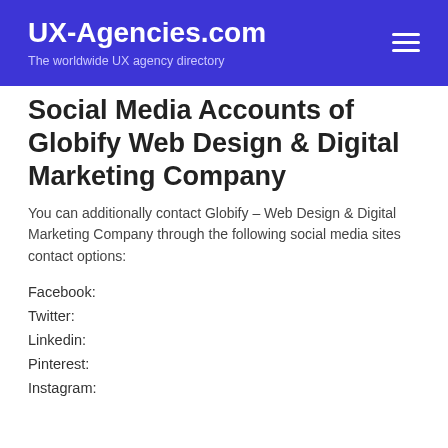UX-Agencies.com
The worldwide UX agency directory
Social Media Accounts of Globify Web Design & Digital Marketing Company
You can additionally contact Globify – Web Design & Digital Marketing Company through the following social media sites contact options:
Facebook:
Twitter:
Linkedin:
Pinterest:
Instagram: